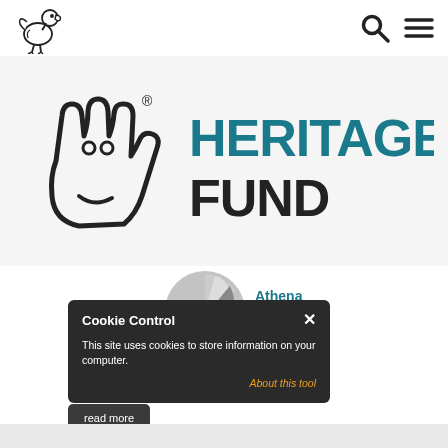Navigation header with dodo logo, search icon, and menu icon
[Figure (logo): National Lottery Heritage Fund logo — crossed fingers hand symbol with text HERITAGE FUND in teal]
[Figure (logo): Athena Swan Silver Award logo — circular silver badge with swan icon]
Cookie Control
This site uses cookies to store information on your computer.
About this tool
read more